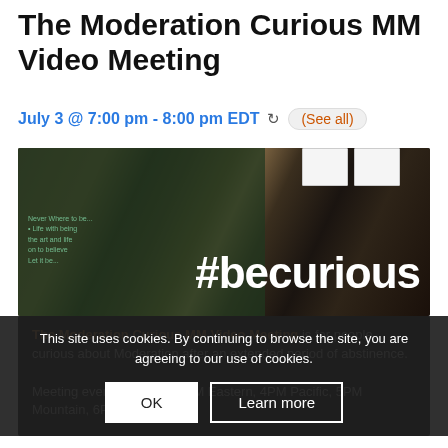The Moderation Curious MM Video Meeting
July 3 @ 7:00 pm - 8:00 pm EDT  ↻ (See all)
[Figure (photo): Photo of a storefront window with '#becurious' text and a chalkboard sign visible in the background]
The Moderation Curious MM Video Meeting is for people curious about Moderation after an extended period of abstinence.

Meeting every Thursday, 7PM Eastern, 4PM Pacific, 5PM Mountain, 6PM Central Time
This site uses cookies. By continuing to browse the site, you are agreeing to our use of cookies.
FULL ZOOM MEETING